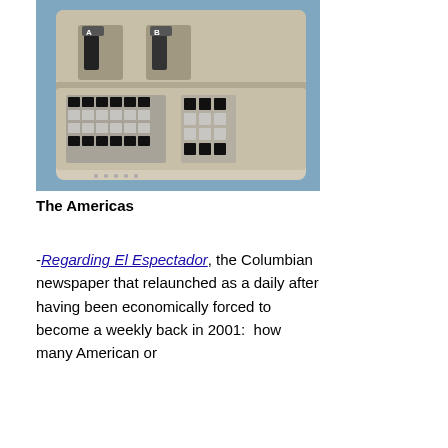[Figure (photo): Photograph of an old portable computer/calculator device in a beige case, open to show keyboard and slots labeled A and B, placed on a blue surface.]
The Americas
-Regarding El Espectador, the Columbian newspaper that relaunched as a daily after having been economically forced to become a weekly back in 2001:  how many American or